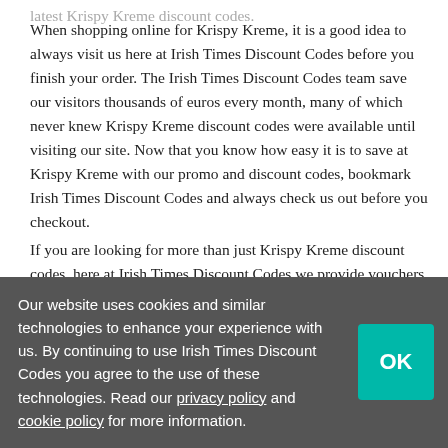latest Krispy Kreme discount codes.
When shopping online for Krispy Kreme, it is a good idea to always visit us here at Irish Times Discount Codes before you finish your order. The Irish Times Discount Codes team save our visitors thousands of euros every month, many of which never knew Krispy Kreme discount codes were available until visiting our site. Now that you know how easy it is to save at Krispy Kreme with our promo and discount codes, bookmark Irish Times Discount Codes and always check us out before you checkout.
If you are looking for more than just Krispy Kreme discount codes, here at Irish Times Discount Codes we provide vouchers and discounts for thousands of other popular brands and retailers. Check out our Krispy Kreme related stores, or visit our homepage to search our database of thousands of items at codes...
Krispy Kreme Shopping Information
Our website uses cookies and similar technologies to enhance your experience with us. By continuing to use Irish Times Discount Codes you agree to the use of these technologies. Read our privacy policy and cookie policy for more information.